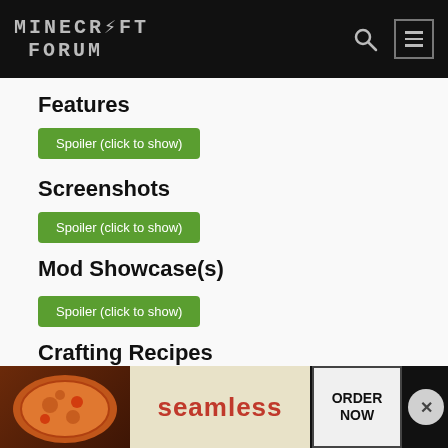Minecraft Forum
Features
Spoiler (click to show)
Screenshots
Spoiler (click to show)
Mod Showcase(s)
Spoiler (click to show)
Crafting Recipes
Spoiler (click to show)
Spoiler (click to show)
Future plans
Spoiler (click to show)
For N...
Spoiler
[Figure (screenshot): Advertisement banner: Seamless pizza delivery ad with ORDER NOW button]